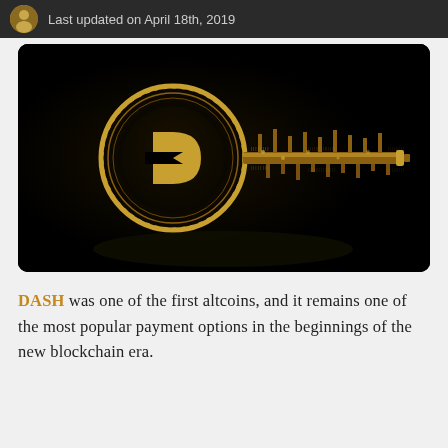Last updated on April 18th, 2019
[Figure (illustration): Dash cryptocurrency coin styled as a golden key against a dark/black background, with circuit board elements forming the key shaft. The DASH logo appears on the coin face in gold.]
DASH was one of the first altcoins, and it remains one of the most popular payment options in the beginnings of the new blockchain era.